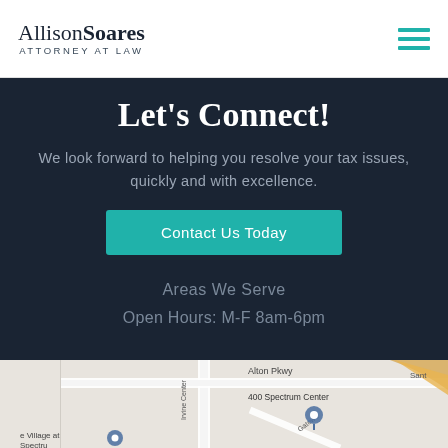Allison Soares ATTORNEY AT LAW
Let's Connect!
We look forward to helping you resolve your tax issues, quickly and with excellence.
Contact Us Today
Areas We Serve
Open Hours: M-F 8am-6pm
[Figure (map): Google Maps showing 400 Spectrum Center location near Alton Pkwy and Irvine Center Drive, with a location pin marker visible]